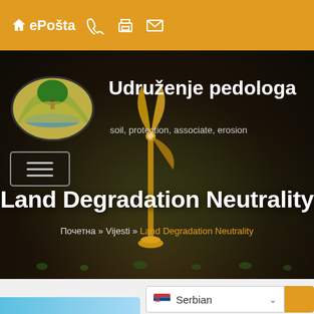ePošta
[Figure (screenshot): Website screenshot of 'Udruženje pedologa' (Soil Scientists Association) showing a dark hero banner with wind turbine image, soil background, site logo, navigation hamburger button, page title 'Land Degradation Neutrality', breadcrumb navigation, and a language selector showing Serbian at the bottom.]
Udruženje pedologa
soil, protection, associate, erosion
Land Degradation Neutrality
Почетна » Vijesti » Land Degradation Neutrality
Serbian